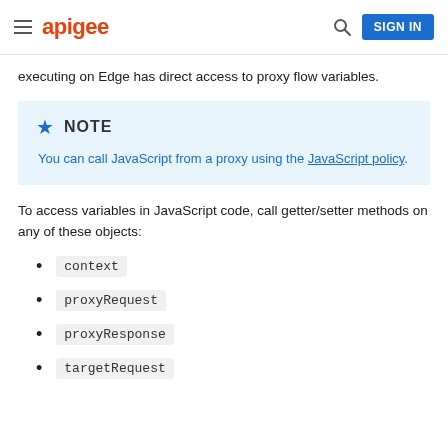apigee  SIGN IN
executing on Edge has direct access to proxy flow variables.
NOTE
You can call JavaScript from a proxy using the JavaScript policy.
To access variables in JavaScript code, call getter/setter methods on any of these objects:
context
proxyRequest
proxyResponse
targetRequest